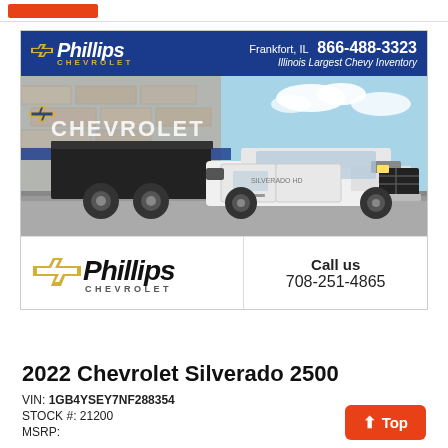Phillips Chevrolet - Frankfort, IL - 866-488-3323 - Illinois Largest Chevy Inventory
[Figure (photo): Phillips Chevrolet dealership advertisement showing a white 2022 Chevrolet Silverado 2500 dump truck parked in front of the dealership building with a blue dealer banner header. Bottom section shows Phillips Chevrolet logo on left and 'Call us 708-251-4865' on right.]
2022 Chevrolet Silverado 2500
VIN: 1GB4YSEY7NF288354
STOCK #: 21200
MSRP: